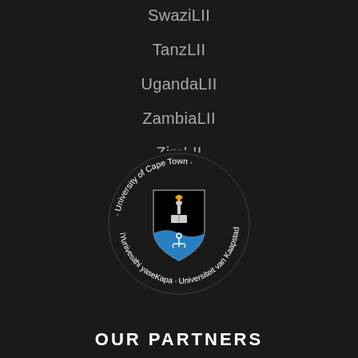SwaziLII
TanzLII
UgandaLII
ZambiaLII
ZimLII
[Figure (logo): University of Cape Town circular seal/logo with shield crest showing torch, books, and anchor on blue and black background, surrounded by text: University of Cape Town · iYunivesithi yaseKapa · Universiteit van Kaapstad]
OUR PARTNERS